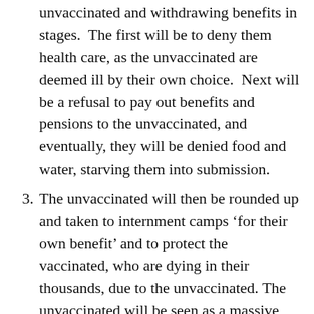unvaccinated and withdrawing benefits in stages. The first will be to deny them health care, as the unvaccinated are deemed ill by their own choice. Next will be a refusal to pay out benefits and pensions to the unvaccinated, and eventually, they will be denied food and water, starving them into submission.
3. The unvaccinated will then be rounded up and taken to internment camps ‘for their own benefit’ and to protect the vaccinated, who are dying in their thousands, due to the unvaccinated. The unvaccinated will be seen as a massive danger to the general population. By this time, the general population are so entirely under the propagandists’ influence that they will go